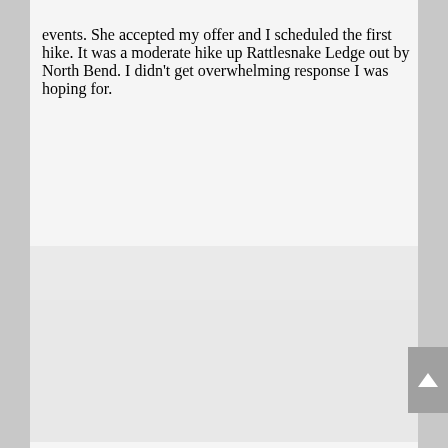events. She accepted my offer and I scheduled the first hike. It was a moderate hike up Rattlesnake Ledge out by North Bend. I didn’t get overwhelming response I was hoping for.
[Figure (photo): A large partially visible image placeholder area below the text, appearing as a light gray rectangle.]